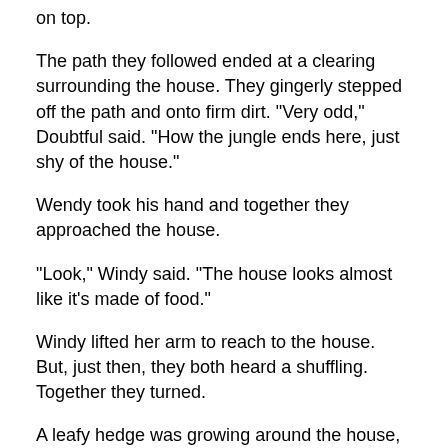on top.
The path they followed ended at a clearing surrounding the house. They gingerly stepped off the path and onto firm dirt. "Very odd," Doubtful said. "How the jungle ends here, just shy of the house."
Wendy took his hand and together they approached the house.
"Look," Windy said. "The house looks almost like it's made of food."
Windy lifted her arm to reach to the house. But, just then, they both heard a shuffling. Together they turned.
A leafy hedge was growing around the house, enclosing them inside. It was already waist high and they could clearly see it still growing.
"Run!" Windy yelled.
They sprinted at the hedge and leaped over. Windy's left foot grazed the hedge. As she landed, her foot felt on fire.